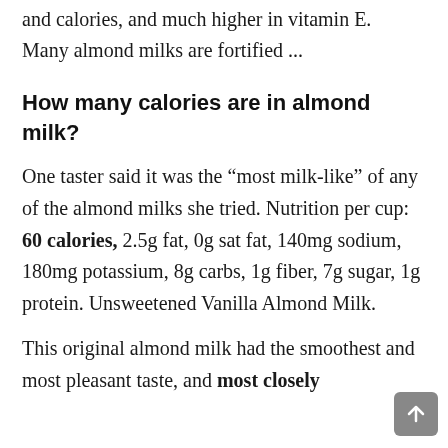and calories, and much higher in vitamin E. Many almond milks are fortified ...
How many calories are in almond milk?
One taster said it was the “most milk-like” of any of the almond milks she tried. Nutrition per cup: 60 calories, 2.5g fat, 0g sat fat, 140mg sodium, 180mg potassium, 8g carbs, 1g fiber, 7g sugar, 1g protein. Unsweetened Vanilla Almond Milk.
This original almond milk had the smoothest and most pleasant taste, and most closely